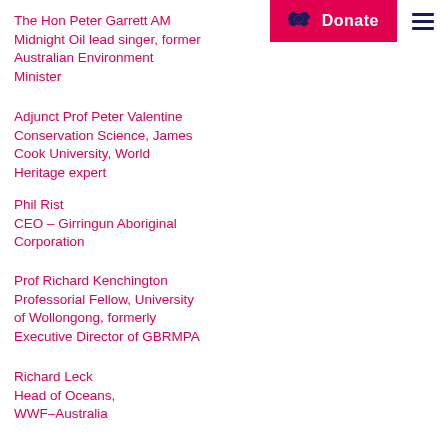Donate
The Hon Peter Garrett AM
Midnight Oil lead singer, former
Australian Environment
Minister
Adjunct Prof Peter Valentine
Conservation Science, James
Cook University, World
Heritage expert
Phil Rist
CEO – Girringun Aboriginal
Corporation
Prof Richard Kenchington
Professorial Fellow, University
of Wollongong, formerly
Executive Director of GBRMPA
Richard Leck
Head of Oceans,
WWF–Australia